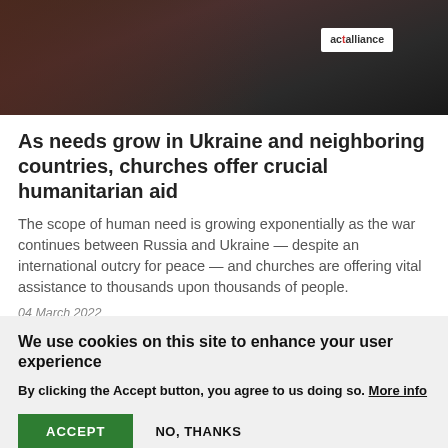[Figure (photo): A photograph showing people, one holding a white bag with 'actaliance' logo printed on it, in a humanitarian aid context.]
As needs grow in Ukraine and neighboring countries, churches offer crucial humanitarian aid
The scope of human need is growing exponentially as the war continues between Russia and Ukraine — despite an international outcry for peace — and churches are offering vital assistance to thousands upon thousands of people.
04 March 2022
We use cookies on this site to enhance your user experience
By clicking the Accept button, you agree to us doing so. More info